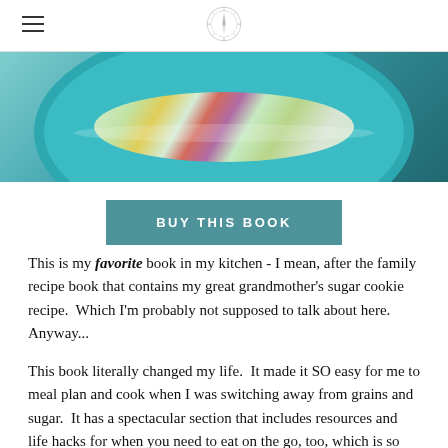[Navigation header with hamburger menu and compass logo]
[Figure (photo): Overhead photo of a salad in a teal/turquoise bowl on a dark background, showing shredded vegetables including carrots, cabbage, and other colorful toppings]
BUY THIS BOOK
This is my favorite book in my kitchen - I mean, after the family recipe book that contains my great grandmother's sugar cookie recipe.  Which I'm probably not supposed to talk about here.  Anyway...
This book literally changed my life.  It made it SO easy for me to meal plan and cook when I was switching away from grains and sugar.  It has a spectacular section that includes resources and life hacks for when you need to eat on the go, too, which is so important because we need healthy